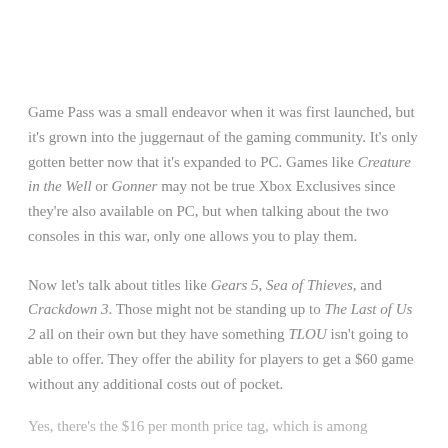Game Pass was a small endeavor when it was first launched, but it's grown into the juggernaut of the gaming community. It's only gotten better now that it's expanded to PC. Games like Creature in the Well or Gonner may not be true Xbox Exclusives since they're also available on PC, but when talking about the two consoles in this war, only one allows you to play them.
Now let's talk about titles like Gears 5, Sea of Thieves, and Crackdown 3. Those might not be standing up to The Last of Us 2 all on their own but they have something TLOU isn't going to able to offer. They offer the ability for players to get a $60 game without any additional costs out of pocket.
Yes, there's the $16 per month price tag, which is among